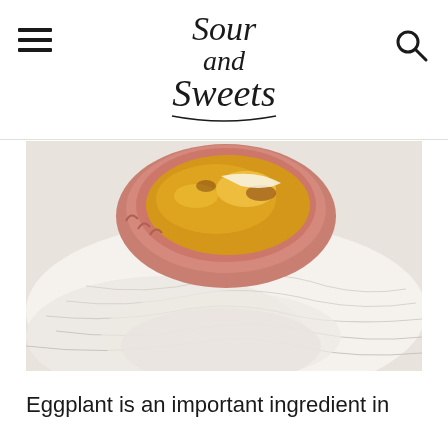Sour and Sweets
[Figure (photo): A pink ceramic baking dish with a baked cheesy egg dish, placed on a white linen cloth against a light background.]
Eggplant is an important ingredient in